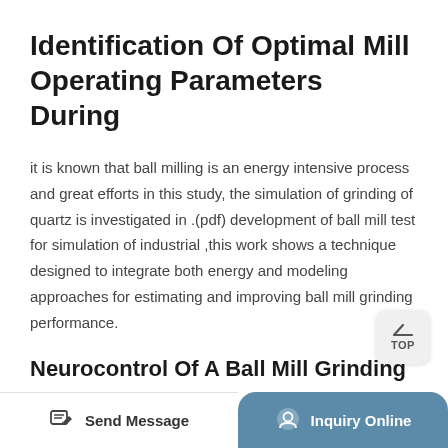Identification Of Optimal Mill Operating Parameters During
it is known that ball milling is an energy intensive process and great efforts in this study, the simulation of grinding of quartz is investigated in .(pdf) development of ball mill test for simulation of industrial ,this work shows a technique designed to integrate both energy and modeling approaches for estimating and improving ball mill grinding performance.
Neurocontrol Of A Ball Mill Grinding
rigorous ball mill grinding circuit is simulated. of a
Send Message   Inquiry Online